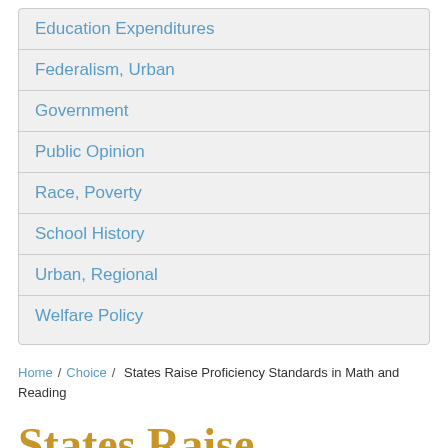Education Expenditures
Federalism, Urban
Government
Public Opinion
Race, Poverty
School History
Urban, Regional
Welfare Policy
Home / Choice / States Raise Proficiency Standards in Math and Reading
States Raise Proficiency Standards in Math and